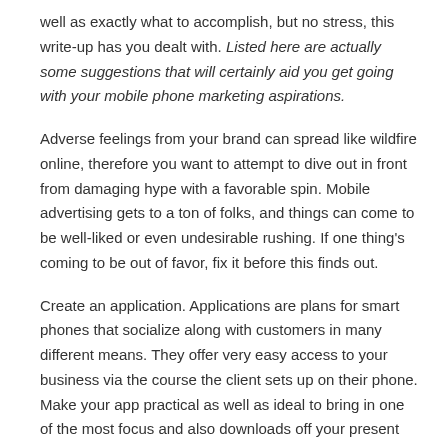well as exactly what to accomplish, but no stress, this write-up has you dealt with. Listed here are actually some suggestions that will certainly aid you get going with your mobile phone marketing aspirations.
Adverse feelings from your brand can spread like wildfire online, therefore you want to attempt to dive out in front from damaging hype with a favorable spin. Mobile advertising gets to a ton of folks, and things can come to be well-liked or even undesirable rushing. If one thing's coming to be out of favor, fix it before this finds out.
Create an application. Applications are plans for smart phones that socialize along with customers in many different means. They offer very easy access to your business via the course the client sets up on their phone. Make your app practical as well as ideal to bring in one of the most focus and also downloads off your present as well as possible consumers.